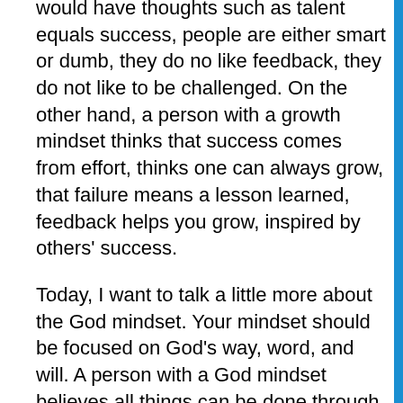would have thoughts such as talent equals success, people are either smart or dumb, they do no like feedback, they do not like to be challenged. On the other hand, a person with a growth mindset thinks that success comes from effort, thinks one can always grow, that failure means a lesson learned, feedback helps you grow, inspired by others' success.
Today, I want to talk a little more about the God mindset. Your mindset should be focused on God's way, word, and will. A person with a God mindset believes all things can be done through God's strength, nothing is impossible, with God all things are possible and that you just